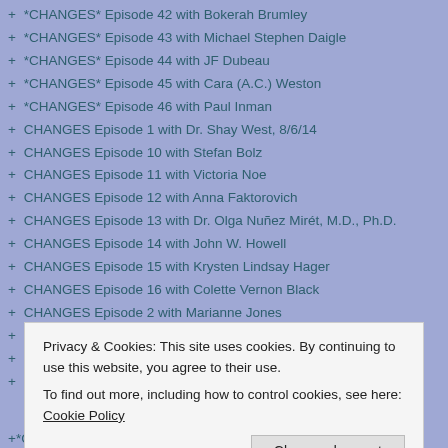+ *CHANGES* Episode 42 with Bokerah Brumley
+ *CHANGES* Episode 43 with Michael Stephen Daigle
+ *CHANGES* Episode 44 with JF Dubeau
+ *CHANGES* Episode 45 with Cara (A.C.) Weston
+ *CHANGES* Episode 46 with Paul Inman
+ CHANGES Episode 1 with Dr. Shay West, 8/6/14
+ CHANGES Episode 10 with Stefan Bolz
+ CHANGES Episode 11 with Victoria Noe
+ CHANGES Episode 12 with Anna Faktorovich
+ CHANGES Episode 13 with Dr. Olga Nuñez Mirét, M.D., Ph.D.
+ CHANGES Episode 14 with John W. Howell
+ CHANGES Episode 15 with Krysten Lindsay Hager
+ CHANGES Episode 16 with Colette Vernon Black
+ CHANGES Episode 2 with Marianne Jones
+ CHANGES Episode 3 with Connie Dunn
+ CHANGES Episode 4 with Janice Ross
Privacy & Cookies: This site uses cookies. By continuing to use this website, you agree to their use.
To find out more, including how to control cookies, see here: Cookie Policy
+*CHANGES* Episode 48 with Michael J. Bowler 5/4/16